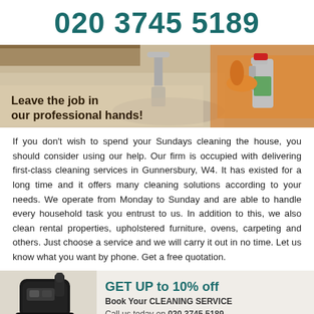020 3745 5189
[Figure (photo): Banner image showing a gloved hand holding a spray bottle near a kitchen faucet, with text 'Leave the job in our professional hands!']
If you don't wish to spend your Sundays cleaning the house, you should consider using our help. Our firm is occupied with delivering first-class cleaning services in Gunnersbury, W4. It has existed for a long time and it offers many cleaning solutions according to your needs. We operate from Monday to Sunday and are able to handle every household task you entrust to us. In addition to this, we also clean rental properties, upholstered furniture, ovens, carpeting and others. Just choose a service and we will carry it out in no time. Let us know what you want by phone. Get a free quotation.
[Figure (photo): Promotional banner with vacuum cleaner image on the left and text: 'GET UP to 10% off', 'Book Your CLEANING SERVICE', 'Call us today on 020 3745 5189']